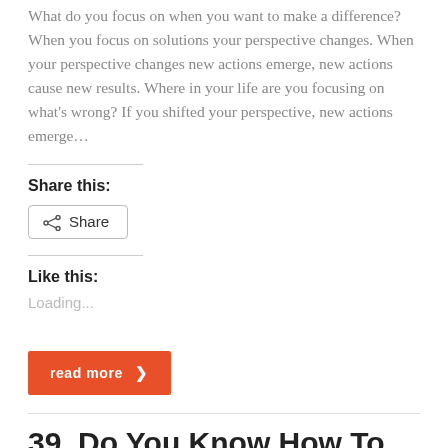What do you focus on when you want to make a difference?  When you focus on solutions your perspective changes.  When your perspective changes new actions emerge, new actions cause new results. Where in your life are you focusing on what's wrong?  If you shifted your perspective, new actions emerge…
Share this:
[Figure (other): Share button with share icon]
Like this:
Loading...
[Figure (other): Orange 'read more' button with right arrow chevron]
39. Do You Know How To Have